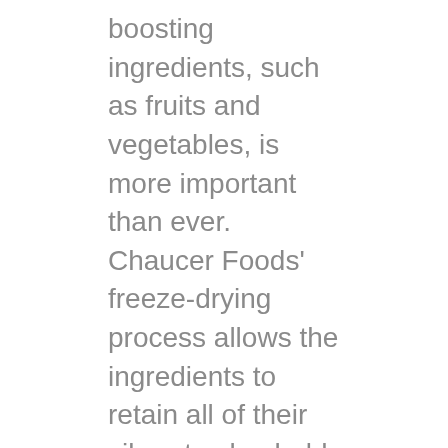boosting ingredients, such as fruits and vegetables, is more important than ever. Chaucer Foods' freeze-drying process allows the ingredients to retain all of their vibrant color, bold flavor and wide range of nutritious benefits–perfect for the health-conscious consumers.
Our selectively sourced, functional and immune-supporting ingredients create the perfect blend of healthy and tasty. From freeze-dried strawberries and legumes to leeks and cherries, Chaucer's ingredients pack in essential vitamins and minerals that keep your consumer running.
Here are four recipe inspirations that provide functional benefits and boost your immune system while still tasting delicious: